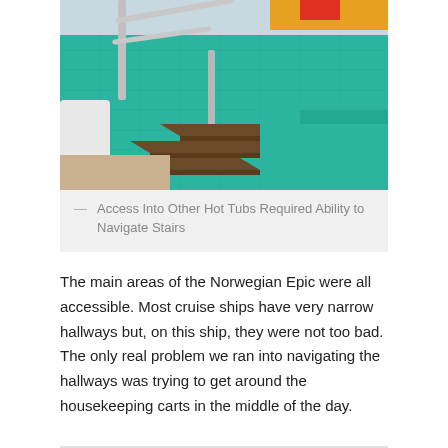[Figure (photo): Photo of stairs leading into a hot tub or pool area on a cruise ship, with teal/turquoise tiled walls and stainless steel handrails.]
— Access Into Other Hot Tubs Required Ability to Navigate Stairs
The main areas of the Norwegian Epic were all accessible. Most cruise ships have very narrow hallways but, on this ship, they were not too bad. The only real problem we ran into navigating the hallways was trying to get around the housekeeping carts in the middle of the day.